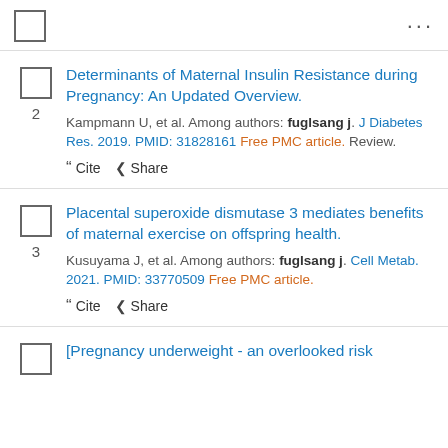...
2. Determinants of Maternal Insulin Resistance during Pregnancy: An Updated Overview. Kampmann U, et al. Among authors: fuglsang j. J Diabetes Res. 2019. PMID: 31828161 Free PMC article. Review.
3. Placental superoxide dismutase 3 mediates benefits of maternal exercise on offspring health. Kusuyama J, et al. Among authors: fuglsang j. Cell Metab. 2021. PMID: 33770509 Free PMC article.
[Pregnancy underweight - an overlooked risk